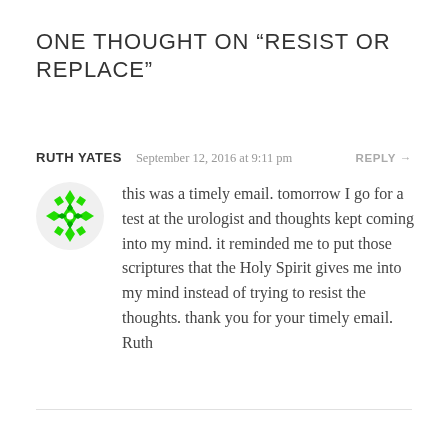ONE THOUGHT ON “RESIST OR REPLACE”
RUTH YATES   September 12, 2016 at 9:11 pm   REPLY →
this was a timely email. tomorrow I go for a test at the urologist and thoughts kept coming into my mind. it reminded me to put those scriptures that the Holy Spirit gives me into my mind instead of trying to resist the thoughts. thank you for your timely email. Ruth